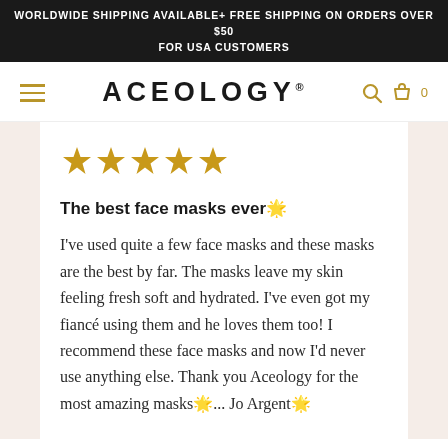WORLDWIDE SHIPPING AVAILABLE+ FREE SHIPPING ON ORDERS OVER $50 FOR USA CUSTOMERS
ACEOLOGY®
[Figure (other): Five gold star rating icons]
The best face masks ever🌟
I've used quite a few face masks and these masks are the best by far. The masks leave my skin feeling fresh soft and hydrated. I've even got my fiancé using them and he loves them too! I recommend these face masks and now I'd never use anything else. Thank you Aceology for the most amazing masks🌟... Jo Argent🌟